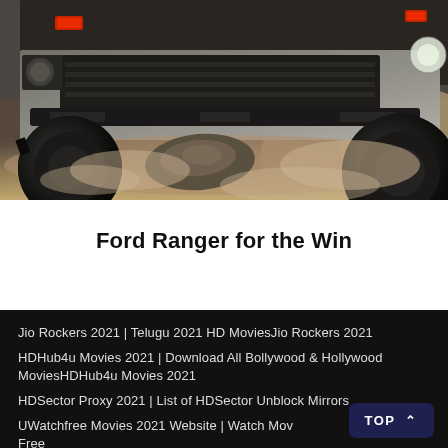[Figure (photo): A Ford Ranger pickup truck driving off-road over rocky terrain with dust flying, viewed from the front-low angle showing tires, bumper, and front lights.]
Ford Ranger for the Win
Jio Rockers 2021 | Telugu 2021 HD MoviesJio Rockers 2021
HDHub4u Movies 2021 | Download All Bollywood & Hollywood MoviesHDHub4u Movies 2021
HDSector Proxy 2021 | List of HDSector Unblock Mirrors
UWatchfree Movies 2021 Website | Watch Movies Online Free